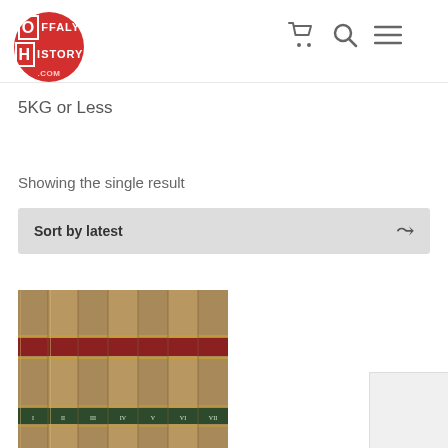Offaly History .com — navigation with cart, search, and menu icons
5KG or Less
Showing the single result
Sort by latest
[Figure (photo): Seven antique leather-bound books standing upright showing their spines, with dark red and green label bands, aged tan/brown leather covers.]